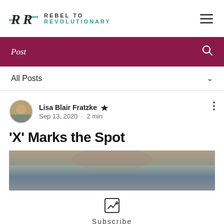[Figure (logo): Rebel to Revolutionary logo with RR monogram and teal/dark text]
Post
All Posts
Lisa Blair Fratzke ■ Sep 13, 2020 · 2 min
'X' Marks the Spot
[Figure (photo): Blurred outdoor photo at top of article]
Subscribe